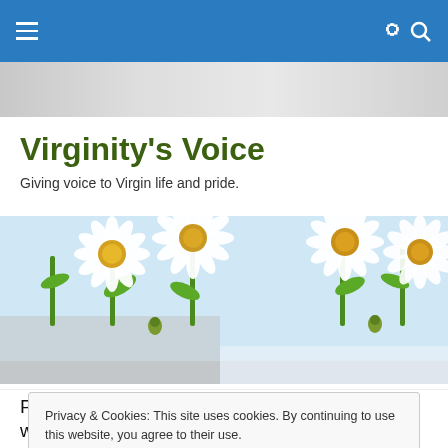Navigation bar with hamburger menu and search icon
Virginity's Voice
Giving voice to Virgin life and pride.
[Figure (photo): Close-up photograph of white daisy flowers with yellow centers and green stems against a light blue background]
Privacy & Cookies: This site uses cookies. By continuing to use this website, you agree to their use.
To find out more, including how to control cookies, see here: Cookie Policy
People looking for relationships in the murky waters of